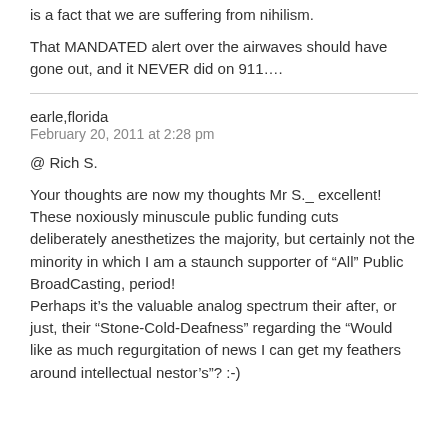is a fact that we are suffering from nihilism.
That MANDATED alert over the airwaves should have gone out, and it NEVER did on 911….
earle,florida
February 20, 2011 at 2:28 pm
@ Rich S.
Your thoughts are now my thoughts Mr S._ excellent! These noxiously minuscule public funding cuts deliberately anesthetizes the majority, but certainly not the minority in which I am a staunch supporter of “All” Public BroadCasting, period!
Perhaps it’s the valuable analog spectrum their after, or just, their “Stone-Cold-Deafness” regarding the “Would like as much regurgitation of news I can get my feathers around intellectual nestor’s”? :-)